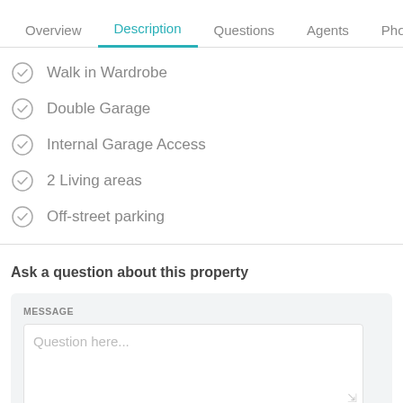Overview | Description | Questions | Agents | Photos
Walk in Wardrobe
Double Garage
Internal Garage Access
2 Living areas
Off-street parking
Ask a question about this property
MESSAGE
Question here...